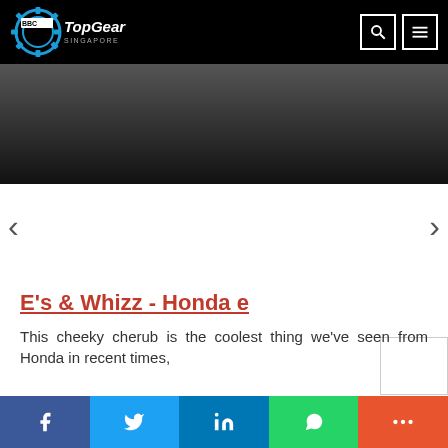BBC Top Gear Singapore
[Figure (screenshot): Dark gradient hero banner image area]
[Figure (infographic): Left carousel arrow (<) and right carousel arrow (>)]
E's & Whizz - Honda e
This cheeky cherub is the coolest thing we've seen from Honda in recent times,
[Figure (infographic): Social share bar with Facebook, Twitter, LinkedIn, WhatsApp, More buttons]